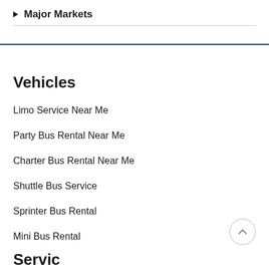Major Markets
Vehicles
Limo Service Near Me
Party Bus Rental Near Me
Charter Bus Rental Near Me
Shuttle Bus Service
Sprinter Bus Rental
Mini Bus Rental
Service